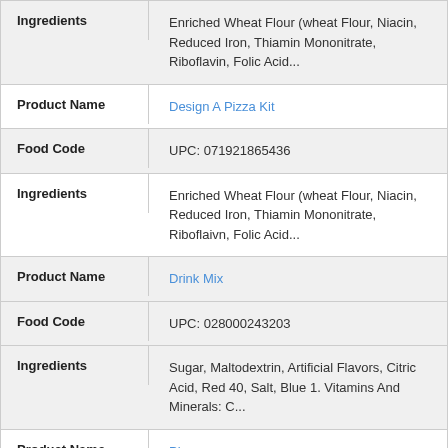| Field | Value |
| --- | --- |
| Ingredients | Enriched Wheat Flour (wheat Flour, Niacin, Reduced Iron, Thiamin Mononitrate, Riboflavin, Folic Acid... |
| Product Name | Design A Pizza Kit |
| Food Code | UPC: 071921865436 |
| Ingredients | Enriched Wheat Flour (wheat Flour, Niacin, Reduced Iron, Thiamin Mononitrate, Riboflaivn, Folic Acid... |
| Product Name | Drink Mix |
| Food Code | UPC: 028000243203 |
| Ingredients | Sugar, Maltodextrin, Artificial Flavors, Citric Acid, Red 40, Salt, Blue 1. Vitamins And Minerals: C... |
| Product Name | Pizza |